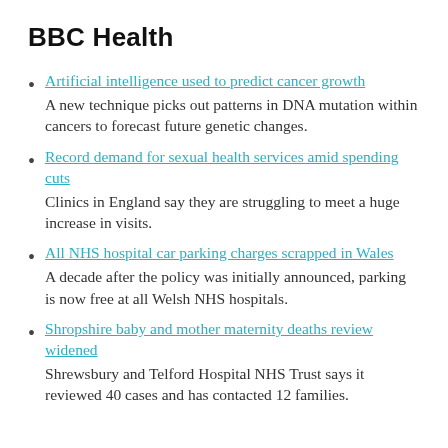BBC Health
Artificial intelligence used to predict cancer growth
A new technique picks out patterns in DNA mutation within cancers to forecast future genetic changes.
Record demand for sexual health services amid spending cuts
Clinics in England say they are struggling to meet a huge increase in visits.
All NHS hospital car parking charges scrapped in Wales
A decade after the policy was initially announced, parking is now free at all Welsh NHS hospitals.
Shropshire baby and mother maternity deaths review widened
Shrewsbury and Telford Hospital NHS Trust says it reviewed 40 cases and has contacted 12 families.